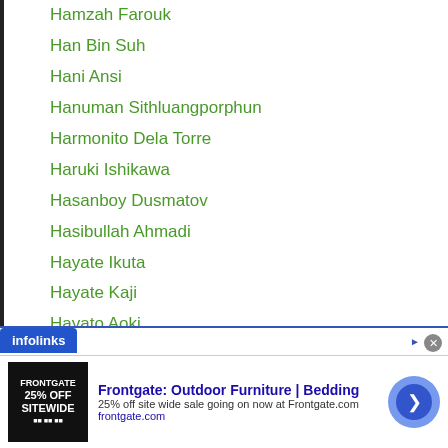Hamzah Farouk
Han Bin Suh
Hani Ansi
Hanuman Sithluangporphun
Harmonito Dela Torre
Haruki Ishikawa
Hasanboy Dusmatov
Hasibullah Ahmadi
Hayate Ikuta
Hayate Kaji
Hayato Aoki
Hayato Hokazono
Hayato Kimura
Hayato Ono
Hayato Tsutsumi
Hayato Yamaguchi
[Figure (screenshot): Infolinks advertisement banner for Frontgate: Outdoor Furniture | Bedding. Text reads: 25% off site wide sale going on now at Frontgate.com. URL: frontgate.com]